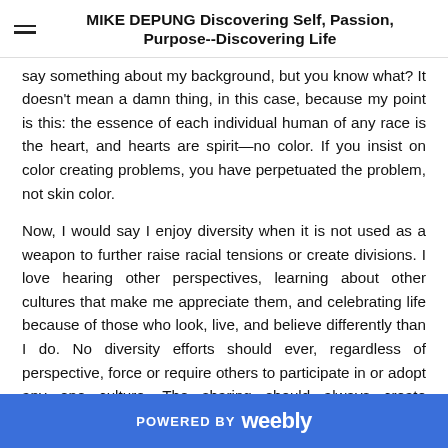MIKE DEPUNG Discovering Self, Passion, Purpose--Discovering Life
say something about my background, but you know what? It doesn't mean a damn thing, in this case, because my point is this: the essence of each individual human of any race is the heart, and hearts are spirit—no color. If you insist on color creating problems, you have perpetuated the problem, not skin color.
Now, I would say I enjoy diversity when it is not used as a weapon to further raise racial tensions or create divisions. I love hearing other perspectives, learning about other cultures that make me appreciate them, and celebrating life because of those who look, live, and believe differently than I do. No diversity efforts should ever, regardless of perspective, force or require others to participate in or adopt any one culture. The sharing should always create appreciation for and understanding of one another. In addition, society should not
POWERED BY weebly